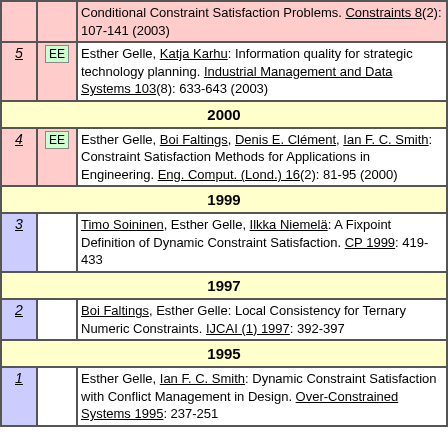| # | EE | Reference |
| --- | --- | --- |
|  |  | Conditional Constraint Satisfaction Problems. Constraints 8(2): 107-141 (2003) |
| 5 | EE | Esther Gelle, Katja Karhu: Information quality for strategic technology planning. Industrial Management and Data Systems 103(8): 633-643 (2003) |
| 2000 |  |  |
| 4 | EE | Esther Gelle, Boi Faltings, Denis E. Clément, Ian F. C. Smith: Constraint Satisfaction Methods for Applications in Engineering. Eng. Comput. (Lond.) 16(2): 81-95 (2000) |
| 1999 |  |  |
| 3 |  | Timo Soininen, Esther Gelle, Ilkka Niemelä: A Fixpoint Definition of Dynamic Constraint Satisfaction. CP 1999: 419-433 |
| 1997 |  |  |
| 2 |  | Boi Faltings, Esther Gelle: Local Consistency for Ternary Numeric Constraints. IJCAI (1) 1997: 392-397 |
| 1995 |  |  |
| 1 |  | Esther Gelle, Ian F. C. Smith: Dynamic Constraint Satisfaction with Conflict Management in Design. Over-Constrained Systems 1995: 237-251 |